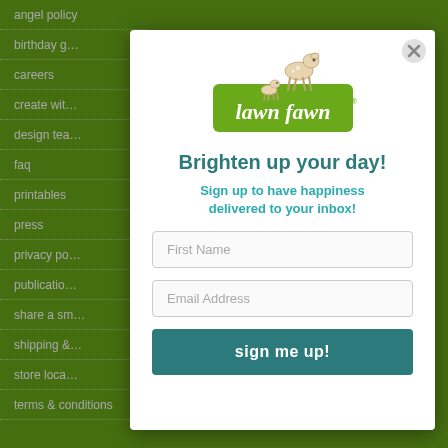angel policy
birthday g…
careers
create wit…
design tea…
faq
printables
press
privacy po…
publicatio…
share a sm…
shipping &…
store loca…
terms & conditions
[Figure (logo): Lawn Fawn logo with deer illustration on green banner]
Brighten up your day!
Sign up to have happiness delivered to your inbox!
First Name
Email Address
sign me up!